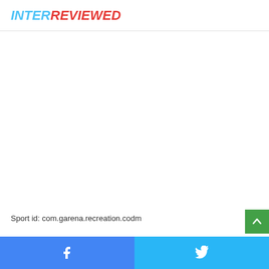INTERREVIEWED
[Figure (other): Large blank white content area, placeholder for article image or advertisement]
Sport id: com.garena.recreation.codm
Facebook share button | Twitter share button